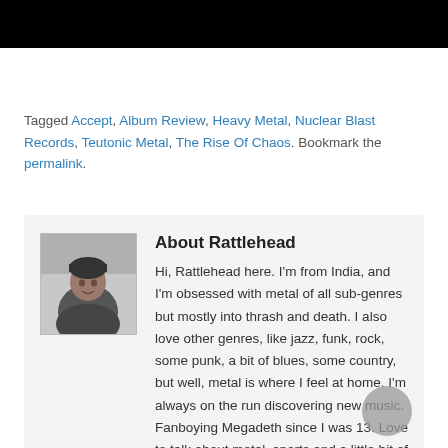[Figure (photo): Black banner image at top of page]
Tagged Accept, Album Review, Heavy Metal, Nuclear Blast Records, Teutonic Metal, The Rise Of Chaos. Bookmark the permalink.
About Rattlehead
[Figure (photo): Black and white portrait photo of Rattlehead wearing a beanie hat]
Hi, Rattlehead here. I'm from India, and I'm obsessed with metal of all sub-genres but mostly into thrash and death. I also love other genres, like jazz, funk, rock, some punk, a bit of blues, some country, but well, metal is where I feel at home. I'm always on the run discovering new music. Fanboying Megadeth since I was 13. Love to talk about metal, sports and a little bit of everything here and